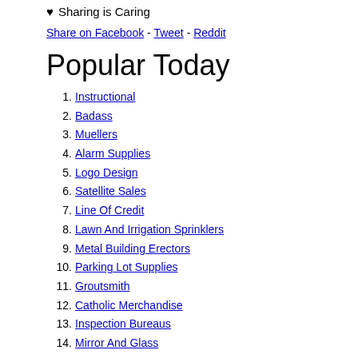♥ Sharing is Caring
Share on Facebook - Tweet - Reddit
Popular Today
1. Instructional
2. Badass
3. Muellers
4. Alarm Supplies
5. Logo Design
6. Satellite Sales
7. Line Of Credit
8. Lawn And Irrigation Sprinklers
9. Metal Building Erectors
10. Parking Lot Supplies
11. Groutsmith
12. Catholic Merchandise
13. Inspection Bureaus
14. Mirror And Glass